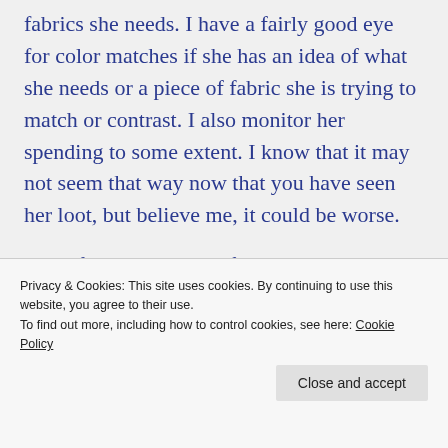fabrics she needs. I have a fairly good eye for color matches if she has an idea of what she needs or a piece of fabric she is trying to match or contrast. I also monitor her spending to some extent. I know that it may not seem that way now that you have seen her loot, but believe me, it could be worse.
One of the sayings she frequently hears me remind her of is to "Spread the love". What I
Privacy & Cookies: This site uses cookies. By continuing to use this website, you agree to their use.
To find out more, including how to control cookies, see here: Cookie Policy